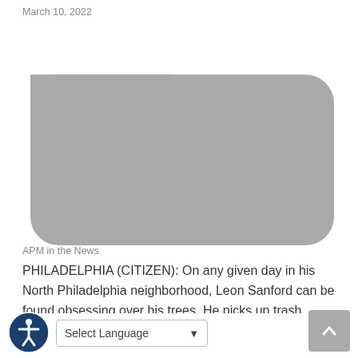March 10, 2022   APM in the News
PHILADELPHIA (CITIZEN): On any given day in his North Philadelphia neighborhood, Leon Sanford can be found obsessing over his trees. He picks up trash, clears debris from drains, and makes…
Affordable housing project for seniors breaks ground in North Philly
February 3, 2022   APM in the News
PHILADELPHIA (AXIOS): More affordable housing is coming to North Philadelphia. What's happening: Asociación Puertorriqueños en Marcha (APM) broke ground Tuesday on its new senior housing project,